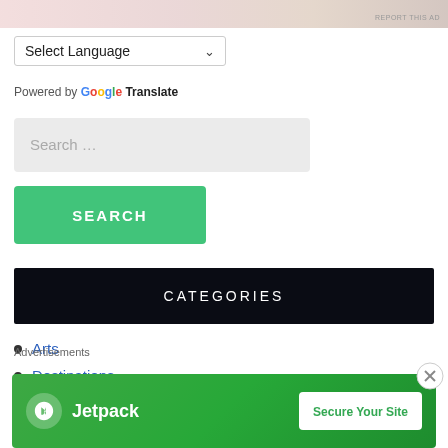[Figure (other): Top banner advertisement image (partially visible, cropped)]
REPORT THIS AD
Select Language
Powered by Google Translate
Search ...
SEARCH
CATEGORIES
Arts
Destinations
Entertainment
Advertisements
[Figure (other): Jetpack advertisement banner: logo and 'Secure Your Site' button on green background]